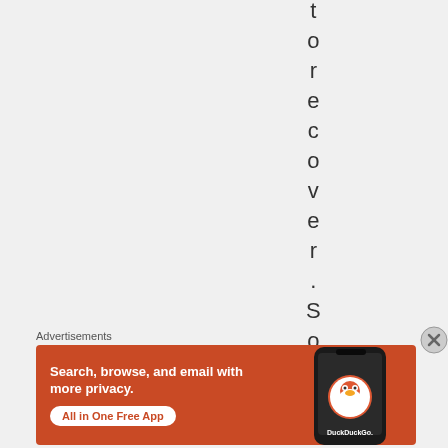t o r e c o v e r . S o
Advertisements
[Figure (illustration): DuckDuckGo advertisement banner with orange background showing 'Search, browse, and email with more privacy. All in One Free App' with a phone mockup and DuckDuckGo logo]
[Figure (other): Close/X button circle icon]